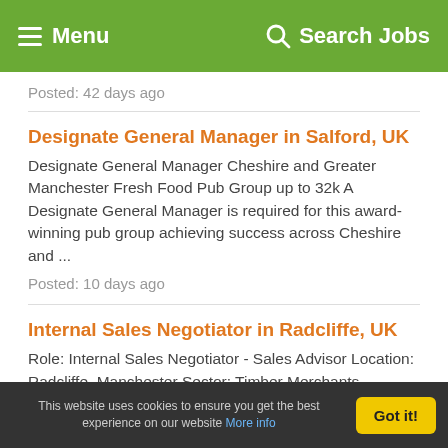Menu  Search Jobs
Posted: 42 days ago
Designate General Manager in Salford, UK
Designate General Manager Cheshire and Greater Manchester Fresh Food Pub Group up to 32k A Designate General Manager is required for this award-winning pub group achieving success across Cheshire and ...
Posted: 10 days ago
Internal Sales Negotiator in Radcliffe, UK
Role: Internal Sales Negotiator - Sales Advisor Location: Radcliffe, Manchester Sector: Timber Merchants -
This website uses cookies to ensure you get the best experience on our website More info  Got it!